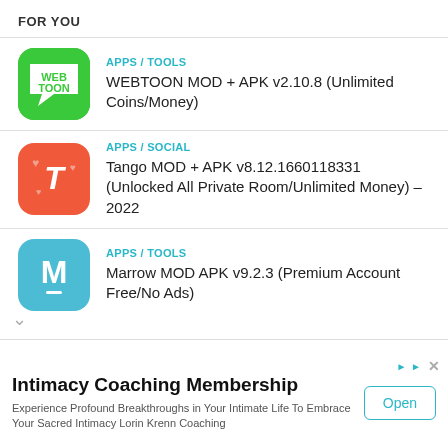FOR YOU
APPS / TOOLS
WEBTOON MOD + APK v2.10.8 (Unlimited Coins/Money)
APPS / SOCIAL
Tango MOD + APK v8.12.1660118331 (Unlocked All Private Room/Unlimited Money) – 2022
APPS / TOOLS
Marrow MOD APK v9.2.3 (Premium Account Free/No Ads)
Intimacy Coaching Membership
Experience Profound Breakthroughs in Your Intimate Life To Embrace Your Sacred Intimacy Lorin Krenn Coaching